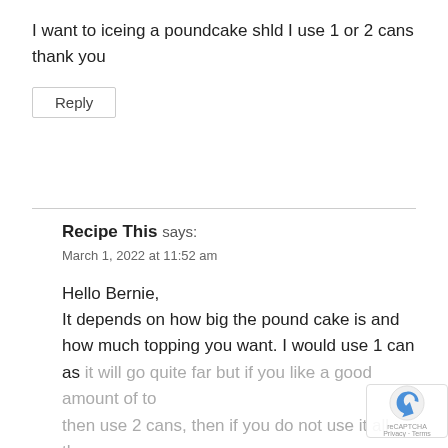I want to iceing a poundcake shld I use 1 or 2 cans thank you
Reply
Recipe This says:
March 1, 2022 at 11:52 am
Hello Bernie,
It depends on how big the pound cake is and how much topping you want. I would use 1 can as it will go quite far but if you like a good amount of to... then use 2 cans, then if you do not use it all th...